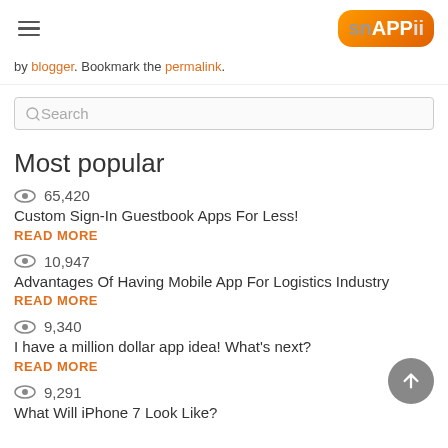Snappii logo and hamburger menu
by blogger. Bookmark the permalink.
Search
Most popular
65,420 — Custom Sign-In Guestbook Apps For Less! READ MORE
10,947 — Advantages Of Having Mobile App For Logistics Industry READ MORE
9,340 — I have a million dollar app idea! What's next? READ MORE
9,291 — What Will iPhone 7 Look Like?